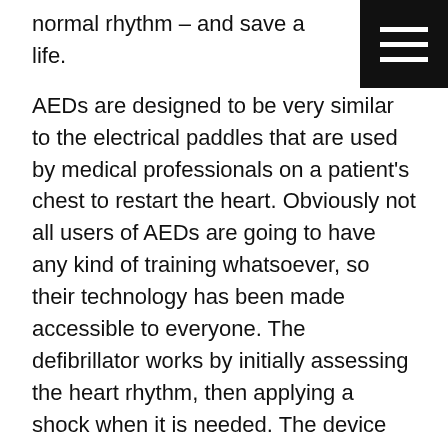normal rhythm – and save a life.
[Figure (other): Hamburger menu icon (three horizontal white lines on black background square)]
AEDs are designed to be very similar to the electrical paddles that are used by medical professionals on a patient's chest to restart the heart. Obviously not all users of AEDs are going to have any kind of training whatsoever, so their technology has been made accessible to everyone. The defibrillator works by initially assessing the heart rhythm, then applying a shock when it is needed. The device then gives audio direction to the user on proper operation during the cardiac event.
According to OSHA, the Occupational Safety and Health Administration, there are approximately 10,000 events of cardiac arrests in workplaces every year. Due to the time it takes for emergency medical professionals to reach the scene, there is only a shocking 5-7% survival